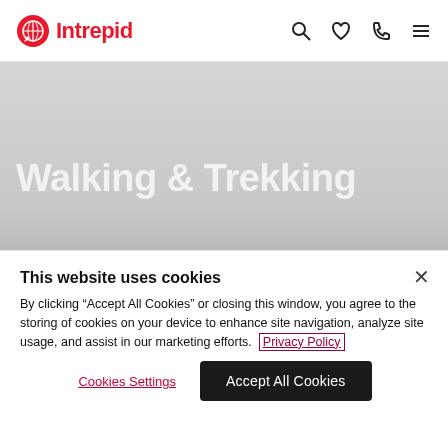Intrepid
Walking & Trekking
Explore on foot and make the most of the outdoors on one of our group tours or on a self-guided
This website uses cookies
By clicking "Accept All Cookies" or closing this window, you agree to the storing of cookies on your device to enhance site navigation, analyze site usage, and assist in our marketing efforts. Privacy Policy
Cookies Settings | Accept All Cookies